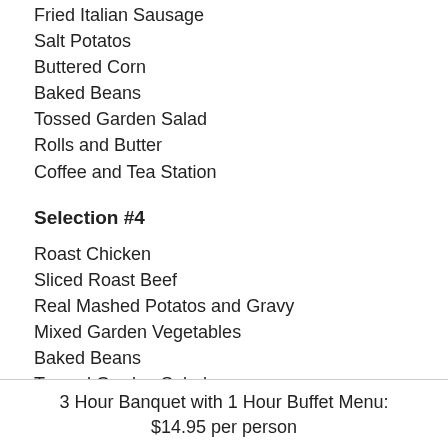Fried Italian Sausage
Salt Potatos
Buttered Corn
Baked Beans
Tossed Garden Salad
Rolls and Butter
Coffee and Tea Station
Selection #4
Roast Chicken
Sliced Roast Beef
Real Mashed Potatos and Gravy
Mixed Garden Vegetables
Baked Beans
Tossed Garden Salad
Rolls and Butter
Coffee and Tea Station
3 Hour Banquet with 1 Hour Buffet Menu: $14.95 per person